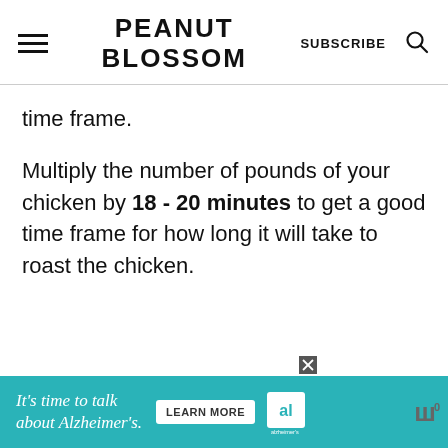PEANUT BLOSSOM | SUBSCRIBE
time frame.
Multiply the number of pounds of your chicken by 18 - 20 minutes to get a good time frame for how long it will take to roast the chicken.
[Figure (other): Advertisement banner: teal background with text 'It's time to talk about Alzheimer's.' with a Learn More button and Alzheimer's Association logo]